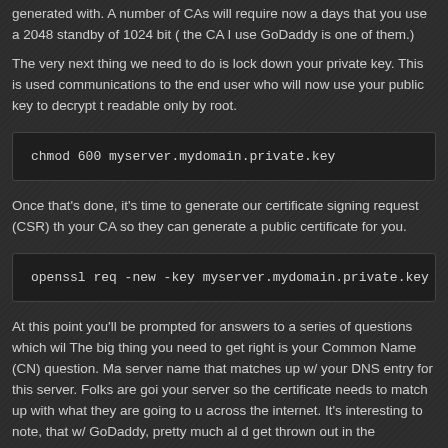generated with. A number of CAs will require now a days that you use a 2048 standby of 1024 bit ( the CA I use GoDaddy is one of them.)
The very next thing we need to do is lock down your private key. This is used communications to the end user who will now use your public key to decrypt readable only by root.
chmod 600 myserver.mydomain.private.key
Once that's done, it's time to generate our certificate signing request (CSR) th your CA so they can generate a public certificate for you.
openssl req -new -key myserver.mydomain.private.key -o
At this point you'll be prompted for answers to a series of questions which wil The big thing you need to get right is your Common Name (CN) question. Ma server name that matches up w/ your DNS entry for this server. Folks are goi your server so the certificate needs to match up with what they are going to u across the internet. It's interesting to note, that w/ GoDaddy, pretty much al get thrown out in the generated public certificate they send back to you so do putting your location information in there. Again, this is with GoDaddy. Other information w/ the public certificate.